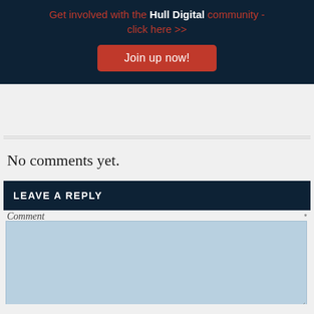Get involved with the Hull Digital community - click here >>
Join up now!
No comments yet.
LEAVE A REPLY
Comment *